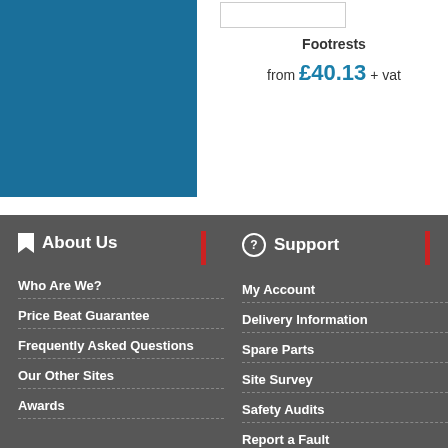[Figure (other): Blue square product image placeholder]
Footrests
from £40.13 + vat
About Us
Who Are We?
Price Beat Guarantee
Frequently Asked Questions
Our Other Sites
Awards
Support
My Account
Delivery Information
Spare Parts
Site Survey
Safety Audits
Report a Fault